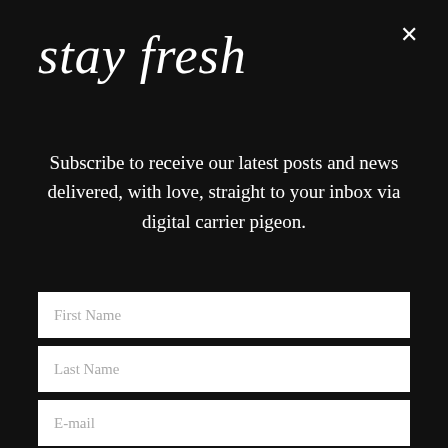stay fresh
Subscribe to receive our latest posts and news delivered, with love, straight to your inbox via digital carrier pigeon.
[Figure (other): Newsletter signup form with fields for First Name, Last Name, E-mail, and a submit button labeled SEND ME SCIENCE + SASS, STAT]